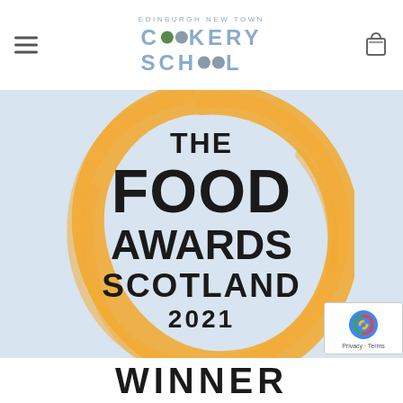Edinburgh New Town Cookery School
[Figure (logo): Edinburgh New Town Cookery School logo with colored dot letters]
[Figure (illustration): The Food Awards Scotland 2021 badge — orange circular brushstroke ring with bold black text inside reading THE FOOD AWARDS SCOTLAND 2021, and WINNER text at the bottom]
Privacy - Terms